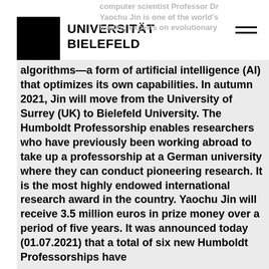UNIVERSITÄT BIELEFELD
computer scientist Professor Dr Yaochu Jin is one of the world's leading experts on evolutionary algorithms—a form of artificial intelligence (AI) that optimizes its own capabilities. In autumn 2021, Jin will move from the University of Surrey (UK) to Bielefeld University. The Humboldt Professorship enables researchers who have previously been working abroad to take up a professorship at a German university where they can conduct pioneering research. It is the most highly endowed international research award in the country. Yaochu Jin will receive 3.5 million euros in prize money over a period of five years. It was announced today (01.07.2021) that a total of six new Humboldt Professorships have